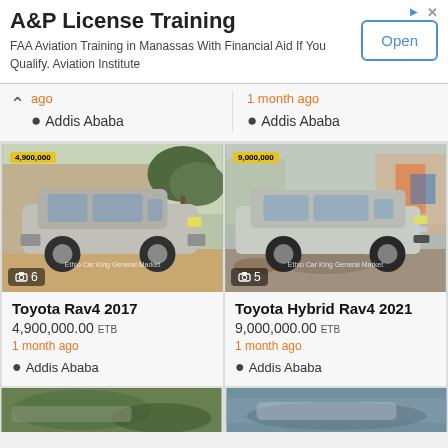[Figure (screenshot): Advertisement banner: A&P License Training - FAA Aviation Training in Manassas With Financial Aid If You Qualify. Aviation Institute. With Open button.]
ago
1 month ago
Addis Ababa
Addis Ababa
[Figure (photo): Toyota Rav4 2017 silver SUV car photo with camera icon showing 6 photos]
[Figure (photo): Toyota Hybrid Rav4 2021 silver/grey SUV car photo with camera icon showing 5 photos]
Toyota Rav4 2017
4,900,000.00 ETB
1 month ago
Addis Ababa
Toyota Hybrid Rav4 2021
9,000,000.00 ETB
1 month ago
Addis Ababa
[Figure (photo): Partial car listing image at bottom left - green/outdoor background]
[Figure (photo): Partial car listing image at bottom right - grey/silver car partial view]